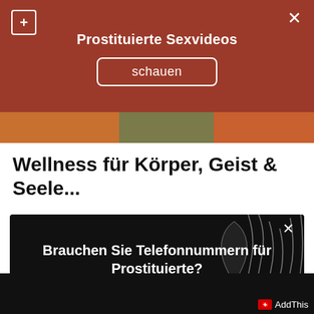Prostituierte Sexvideos
schauen
Wellness für Körper, Geist & Seele...
[Figure (screenshot): Dark popup overlay with silhouette image on right, bold white text asking 'Brauchen Sie Telefonnummern für Prostituierte?' with two buttons: green 'Ja, bitte!' and grey 'Nein danke!']
AddThis